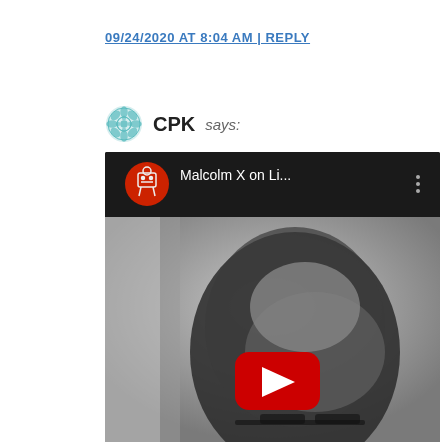09/24/2020 AT 8:04 AM | REPLY
CPK says:
[Figure (screenshot): YouTube video embed thumbnail showing Malcolm X on Li... title, a black and white photo of a man's head, and the YouTube red play button in the center. The video bar at top shows a red circular channel icon and three-dot menu.]